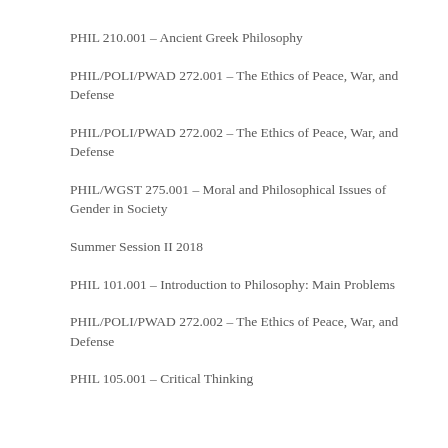PHIL 210.001 – Ancient Greek Philosophy
PHIL/POLI/PWAD 272.001 – The Ethics of Peace, War, and Defense
PHIL/POLI/PWAD 272.002 – The Ethics of Peace, War, and Defense
PHIL/WGST 275.001 – Moral and Philosophical Issues of Gender in Society
Summer Session II 2018
PHIL 101.001 – Introduction to Philosophy: Main Problems
PHIL/POLI/PWAD 272.002 – The Ethics of Peace, War, and Defense
PHIL 105.001 – Critical Thinking